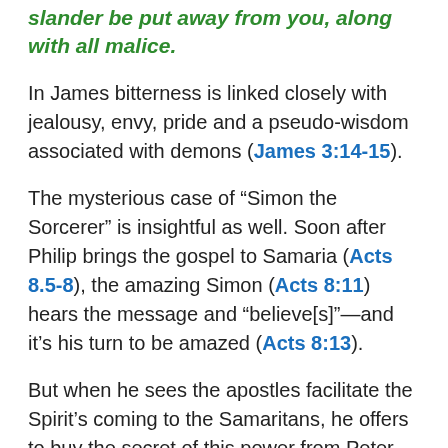slander be put away from you, along with all malice.
In James bitterness is linked closely with jealousy, envy, pride and a pseudo-wisdom associated with demons (James 3:14-15).
The mysterious case of “Simon the Sorcerer” is insightful as well. Soon after Philip brings the gospel to Samaria (Acts 8.5-8), the amazing Simon (Acts 8:11) hears the message and “believe[s]”—and it’s his turn to be amazed (Acts 8:13).
But when he sees the apostles facilitate the Spirit’s coming to the Samaritans, he offers to buy the secret of this power from Peter. As expected, Peter rebukes him. But the apostle’s analysis of what ails Simon is surprising (8:20-23). Peter accuses Simon of: